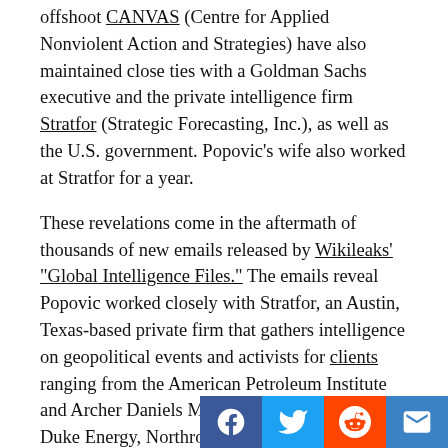offshoot CANVAS (Centre for Applied Nonviolent Action and Strategies) have also maintained close ties with a Goldman Sachs executive and the private intelligence firm Stratfor (Strategic Forecasting, Inc.), as well as the U.S. government. Popovic's wife also worked at Stratfor for a year.
These revelations come in the aftermath of thousands of new emails released by Wikileaks' "Global Intelligence Files." The emails reveal Popovic worked closely with Stratfor, an Austin, Texas-based private firm that gathers intelligence on geopolitical events and activists for clients ranging from the American Petroleum Institute and Archer Daniels Midland to Dow Chemical, Duke Energy, Northrop Grumman, Intel and Coca-Cola.
Referred to in emails under the moniker "SR501," Popovic was first approached by Stratfor in 2007 to give a lecture in the London office